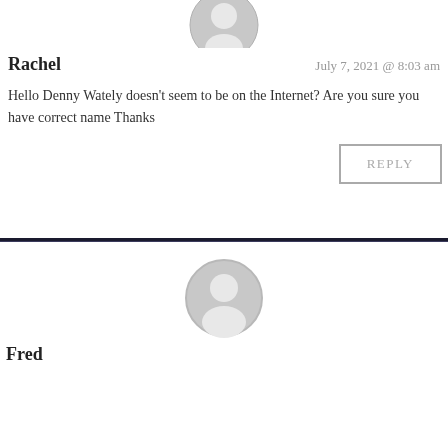[Figure (illustration): Gray circular avatar placeholder icon for user Rachel, partially visible at top of page]
Rachel
July 7, 2021 @ 8:03 am
Hello Denny Wately doesn't seem to be on the Internet? Are you sure you have correct name Thanks
REPLY
[Figure (illustration): Gray circular avatar placeholder icon for user Fred]
Fred